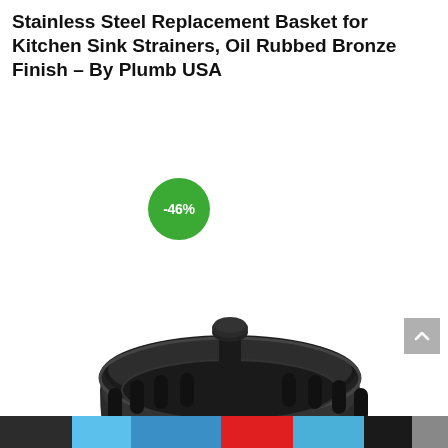Stainless Steel Replacement Basket for Kitchen Sink Strainers, Oil Rubbed Bronze Finish – By Plumb USA
[Figure (photo): Dark oil-rubbed bronze finish kitchen sink strainer basket with a central knob handle, perforated base with circular holes, and vertical oval slots around the sides. A green circular badge showing '-46%' discount is overlaid in the upper-left of the image. A grey scroll-to-top arrow button appears on the right side.]
Bottom navigation/social share bar with dark, blue, red, and grey segments containing icons